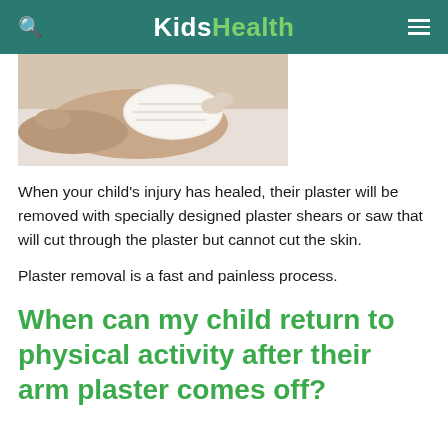KidsHealth
[Figure (photo): Close-up photo of a child's arm/hand in a white plaster cast]
When your child's injury has healed, their plaster will be removed with specially designed plaster shears or saw that will cut through the plaster but cannot cut the skin.
Plaster removal is a fast and painless process.
When can my child return to physical activity after their arm plaster comes off?